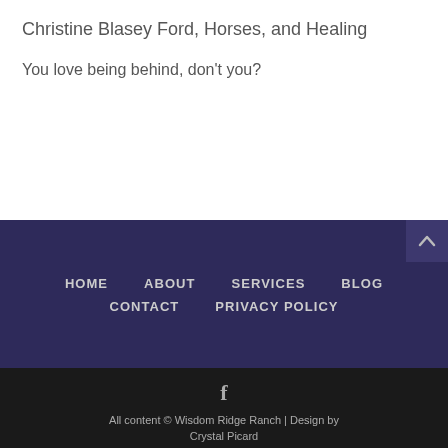Christine Blasey Ford, Horses, and Healing
You love being behind, don't you?
HOME   ABOUT   SERVICES   BLOG   CONTACT   PRIVACY POLICY
All content © Wisdom Ridge Ranch | Design by Crystal Picard